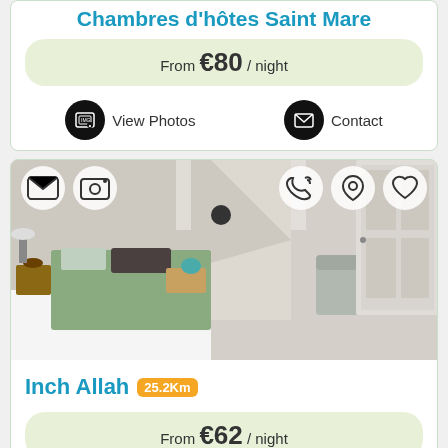Chambres d'hôtes Saint Mare
From €80 / night
View Photos
Contact
[Figure (photo): Interior bedroom photo showing a sloped ceiling room with floral wallpaper, green bedding, lamps, and wicker chair]
Inch Allah 25.2Km
From €62 / night
View Photos
Contact